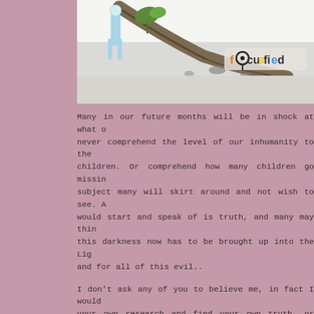[Figure (illustration): Partial illustration showing a figure in blue/white standing near a fallen or leaning tree with a small plant growing from it. A 'fOcusfied' logo watermark is visible in the lower right of the image portion.]
Many in our future months will be in shock at what our never comprehend the level of our inhumanity to the children. Or comprehend how many children go missing subject many will skirt around and not wish to see. A would start and speak of is truth, and many may thin this darkness now has to be brought up into the Lig and for all of this evil..
I don't ask any of you to believe me, in fact I would your own research and find your own truth, or find so fact I challenge you to go and find your own informa rely upon one source to tell us our daily news... And w is... you will have cracked a huge code of misconduct